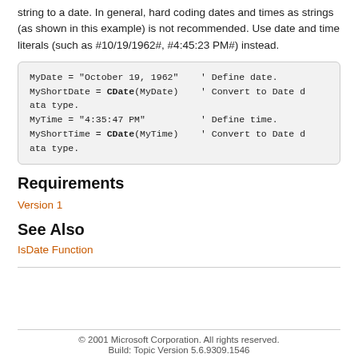string to a date. In general, hard coding dates and times as strings (as shown in this example) is not recommended. Use date and time literals (such as #10/19/1962#, #4:45:23 PM#) instead.
MyDate = "October 19, 1962"    ' Define date.
MyShortDate = CDate(MyDate)    ' Convert to Date data type.
MyTime = "4:35:47 PM"          ' Define time.
MyShortTime = CDate(MyTime)    ' Convert to Date data type.
Requirements
Version 1
See Also
IsDate Function
© 2001 Microsoft Corporation. All rights reserved.
Build: Topic Version 5.6.9309.1546